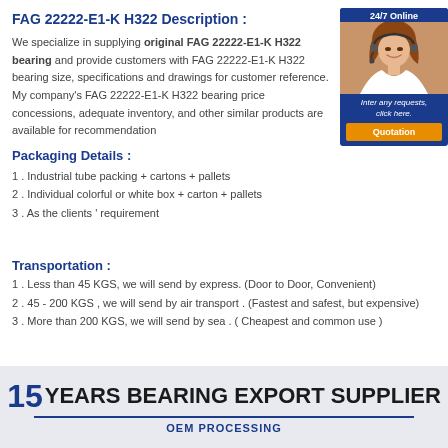FAG 22222-E1-K H322 Description :
We specialize in supplying original FAG 22222-E1-K H322 bearing and provide customers with FAG 22222-E1-K H322 bearing size, specifications and drawings for customer reference. My company's FAG 22222-E1-K H322 bearing price concessions, adequate inventory, and other similar products are available for recommendation
Packaging Details :
1 . Industrial tube packing + cartons + pallets
2 . Individual colorful or white box + carton + pallets
3 . As the clients ' requirement
[Figure (photo): Customer service representative with headset, 24/7 Online banner, quotation button]
Transportation :
1 . Less than 45 KGS, we will send by express. (Door to Door, Convenient)
2 . 45 - 200 KGS , we will send by air transport . (Fastest and safest, but expensive)
3 . More than 200 KGS, we will send by sea . ( Cheapest and common use )
[Figure (infographic): 15 Years Bearing Export Supplier banner with OEM Processing subtitle on light blue background]